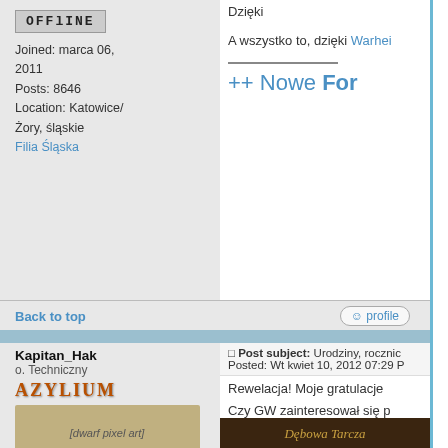Dzięki
A wszystko to, dzięki Warhei
++ Nowe For
OFFlINE
Joined: marca 06, 2011
Posts: 8646
Location: Katowice/Żory, śląskie
Filia Śląska
Back to top
profile
Kapitan_Hak
o. Techniczny
AZYLIUM
[Figure (illustration): Pixel art dwarf warrior holding two axes, wearing armor]
Post subject: Urodziny, rocznic
Posted: Wt kwiet 10, 2012 07:29 P
Rewelacja! Moje gratulacje
Czy GW zainteresował się p założenia, że to do WFB ?
Joined: marca 06, 2011
Posts: 1753
Filia Mazowiecka
[Figure (illustration): Dark fantasy tavern/shield image labeled Dębowa Tarcza]